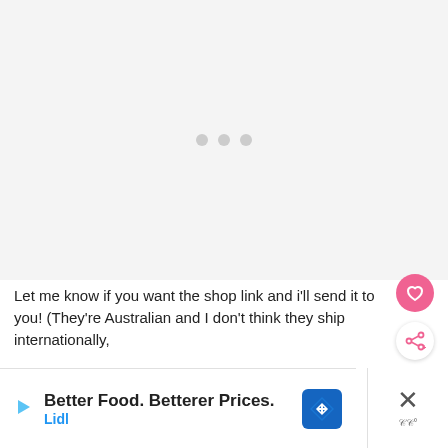[Figure (other): Loading placeholder area with light grey background and three grey dots in the center indicating content is loading]
[Figure (other): Pink circular heart/favorite button icon on the right side]
[Figure (other): White circular share button with share icon and plus symbol]
Let me know if you want the shop link and i'll send it to you! (They're Australian and I don't think they ship internationally,
[Figure (photo): Partial image showing warm brown/orange food or wood texture at the bottom of the page]
[Figure (other): Advertisement banner: Better Food. Betterer Prices. Lidl, with a blue diamond direction sign icon and a play button. Close (X) button on the right.]